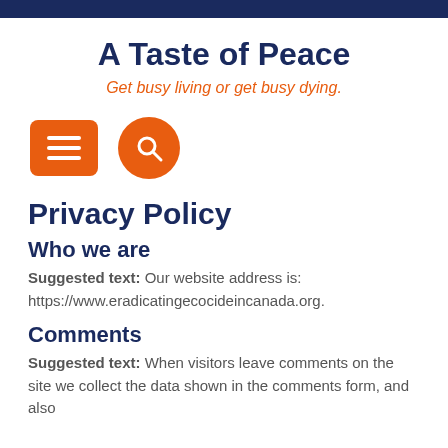A Taste of Peace
Get busy living or get busy dying.
[Figure (infographic): Orange square menu button with three white horizontal lines, and an orange circle search button with a magnifying glass icon]
Privacy Policy
Who we are
Suggested text: Our website address is: https://www.eradicatingecocideincanada.org.
Comments
Suggested text: When visitors leave comments on the site we collect the data shown in the comments form, and also